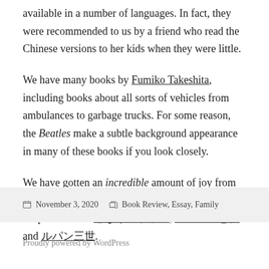available in a number of languages. In fact, they were recommended to us by a friend who read the Chinese versions to her kids when they were little.
We have many books by Fumiko Takeshita, including books about all sorts of vehicles from ambulances to garbage trucks. For some reason, the Beatles make a subtle background appearance in many of these books if you look closely.
We have gotten an incredible amount of joy from the 魔女の宅急便 series, especially Studio Ghibli adaptations like となりのトトロ, 魔女の宅急便 and ルパン三世.
November 3, 2020   Book Review, Essay, Family
Proudly powered by WordPress